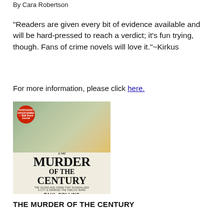By Cara Robertson
“Readers are given every bit of evidence available and will be hard-pressed to reach a verdict; it’s fun trying, though. Fans of crime novels will love it.”~Kirkus
For more information, please click here.
[Figure (photo): Book cover of 'The Murder of the Century' by Paul Collins, showing an aerial view of a city with a red circular badge in the top left corner.]
THE MURDER OF THE CENTURY